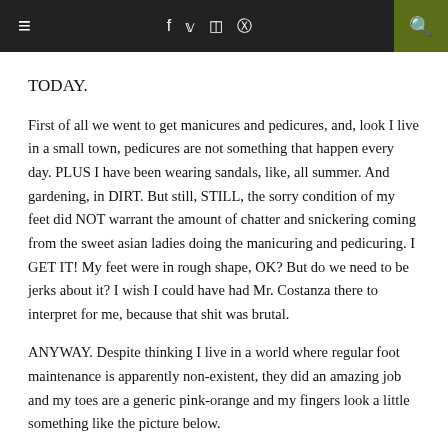≡  f  🐦  📷  𝗣  🔍
TODAY.
First of all we went to get manicures and pedicures, and, look I live in a small town, pedicures are not something that happen every day. PLUS I have been wearing sandals, like, all summer. And gardening, in DIRT. But still, STILL, the sorry condition of my feet did NOT warrant the amount of chatter and snickering coming from the sweet asian ladies doing the manicuring and pedicuring. I GET IT! My feet were in rough shape, OK? But do we need to be jerks about it? I wish I could have had Mr. Costanza there to interpret for me, because that shit was brutal.
ANYWAY. Despite thinking I live in a world where regular foot maintenance is apparently non-existent, they did an amazing job and my toes are a generic pink-orange and my fingers look a little something like the picture below.